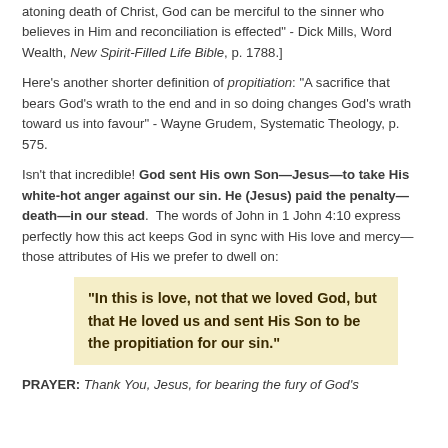atoning death of Christ, God can be merciful to the sinner who believes in Him and reconciliation is effected" - Dick Mills, Word Wealth, New Spirit-Filled Life Bible, p. 1788.]
Here's another shorter definition of propitiation: "A sacrifice that bears God's wrath to the end and in so doing changes God's wrath toward us into favour" - Wayne Grudem, Systematic Theology, p. 575.
Isn't that incredible! God sent His own Son—Jesus—to take His white-hot anger against our sin. He (Jesus) paid the penalty—death—in our stead. The words of John in 1 John 4:10 express perfectly how this act keeps God in sync with His love and mercy—those attributes of His we prefer to dwell on:
"In this is love, not that we loved God, but that He loved us and sent His Son to be the propitiation for our sin."
PRAYER: Thank You, Jesus, for bearing the fury of God's